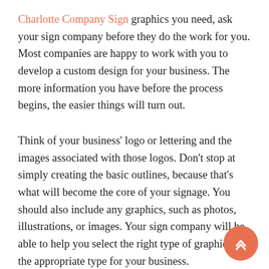Charlotte Company Sign graphics you need, ask your sign company before they do the work for you. Most companies are happy to work with you to develop a custom design for your business. The more information you have before the process begins, the easier things will turn out.
Think of your business' logo or lettering and the images associated with those logos. Don't stop at simply creating the basic outlines, because that's what will become the core of your signage. You should also include any graphics, such as photos, illustrations, or images. Your sign company will be able to help you select the right type of graphics and the appropriate type for your business.